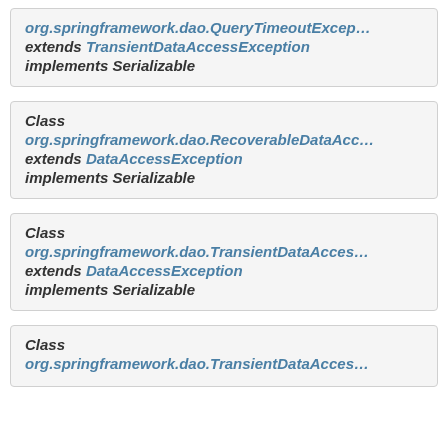org.springframework.dao.QueryTimeoutException extends TransientDataAccessException implements Serializable
Class org.springframework.dao.RecoverableDataAccessException extends DataAccessException implements Serializable
Class org.springframework.dao.TransientDataAccessException extends DataAccessException implements Serializable
Class org.springframework.dao.TransientDataAccess...